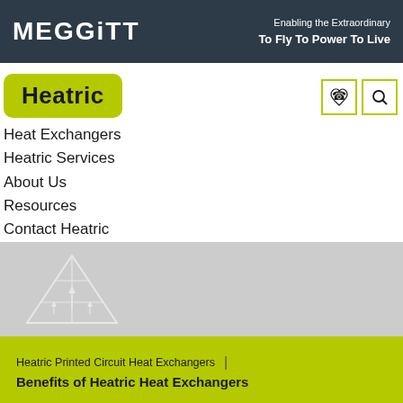[Figure (logo): Meggitt logo in white text on dark navy header bar with tagline 'Enabling the Extraordinary / To Fly To Power To Live']
[Figure (logo): Heatric logo — white text on green/yellow-green rounded rectangle button]
[Figure (illustration): Gray banner with faint pyramid/hierarchy icon illustration in white outline]
Heat Exchangers
Heatric Services
About Us
Resources
Contact Heatric
Heatric Printed Circuit Heat Exchangers
Benefits of Heatric Heat Exchangers